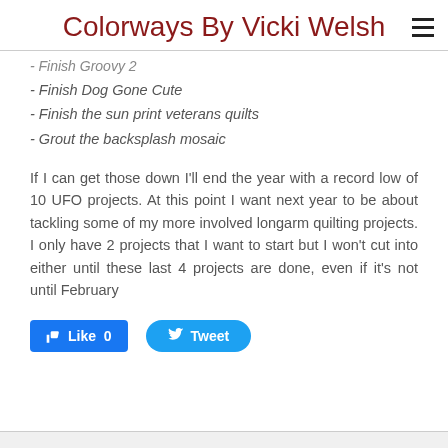Colorways By Vicki Welsh
- Finish Groovy 2
- Finish Dog Gone Cute
- Finish the sun print veterans quilts
- Grout the backsplash mosaic
If I can get those down I'll end the year with a record low of 10 UFO projects. At this point I want next year to be about tackling some of my more involved longarm quilting projects. I only have 2 projects that I want to start but I won't cut into either until these last 4 projects are done, even if it's not until February
[Figure (screenshot): Like 0 button (Facebook) and Tweet button (Twitter)]